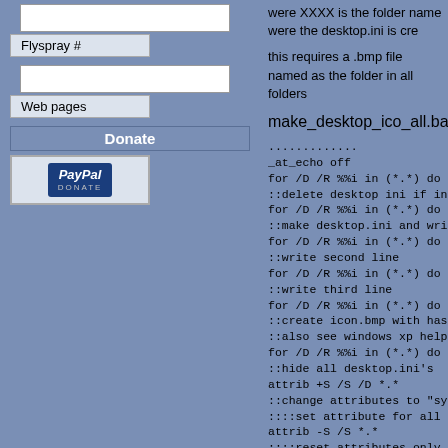[Figure (screenshot): Input text box (white rectangle)]
Flyspray #
[Figure (screenshot): Input text box (white rectangle)]
Web pages
Donate
[Figure (logo): PayPal Donate button]
were XXXX is the folder name were the desktop.ini is cre
this requires a .bmp file named as the folder in all folders
make_desktop_ico_all.bat
.............
_at_echo off
for /D /R %%i in (*.*) do del "%%i\desktop.ini"
::delete desktop ini if in folder
for /D /R %%i in (*.*) do echo [.ShellClassInfo]>"%%i\des
::make desktop.ini and write first line
for /D /R %%i in (*.*) do echo ConfirmFileOp=0 >>"%%i\d
::write second line
for /D /R %%i in (*.*) do echo IconIndex=0 >>"%%i\deskt
::write third line
for /D /R %%i in (*.*) do echo IconFile="%%~ni.bmp" >>"
::create icon.bmp with has the name of the directory were
::also see windows xp help keyword "for"
for /D /R %%i in (*.*) do attrib +H "%%i\desktop.ini"
::hide all desktop.ini's
attrib +S /S /D *.*
::change attributes to "system" for all folders (desktop.ini
::::set attribute for all folders and files
attrib -S /S *.*
::::reset attributes only for files, workaround
pause
.................